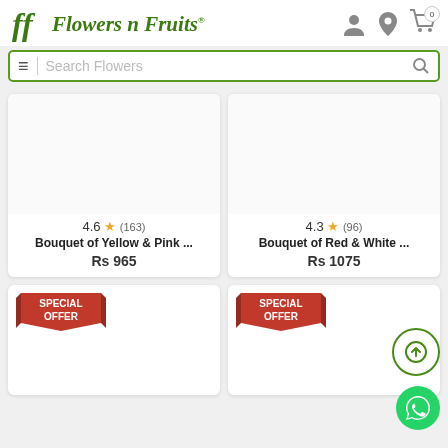[Figure (logo): Flowers n Fruits logo with green cursive text and leaf icon]
[Figure (screenshot): Search bar with hamburger menu icon and search icon, placeholder text 'Search Flowers']
[Figure (other): Product card: Bouquet of Yellow & Pink ... rated 4.6 stars (163 reviews), Rs 965]
[Figure (other): Product card: Bouquet of Red & White ... rated 4.3 stars (96 reviews), Rs 1075]
[Figure (other): Product card with SPECIAL OFFER badge]
[Figure (other): Product card with SPECIAL OFFER badge]